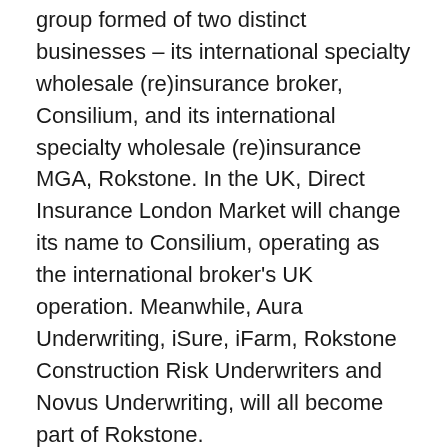group formed of two distinct businesses – its international specialty wholesale (re)insurance broker, Consilium, and its international specialty wholesale (re)insurance MGA, Rokstone. In the UK, Direct Insurance London Market will change its name to Consilium, operating as the international broker's UK operation. Meanwhile, Aura Underwriting, iSure, iFarm, Rokstone Construction Risk Underwriters and Novus Underwriting, will all become part of Rokstone.
“From a day-to-day perspective, our clients are still going to be dealing with the same great bunch of people, the same culture and the same ‘can-do’ attitude,” he said. “But by bringing the business together under one brand, we’re creating a real presence in the market that can leverage our existing system efficiencies and innovation, and enhance the experience of all our customers.”